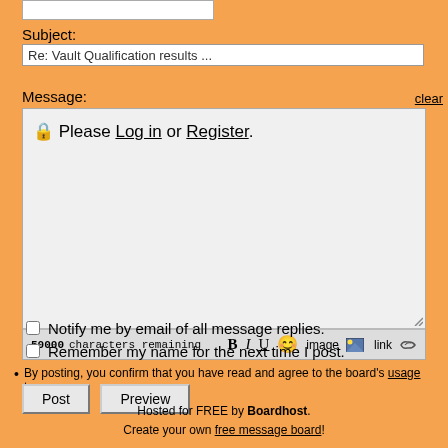Subject:
Re: Vault Qualification results ...
Message:
clear
🔒 Please Log in or Register.
50000 characters remaining   B  I  U  😊  image  link
Notify me by email of all message replies.
Remember my name for the next time I post.
By posting, you confirm that you have read and agree to the board's usage terms.
Post   Preview
Hosted for FREE by Boardhost. Create your own free message board!